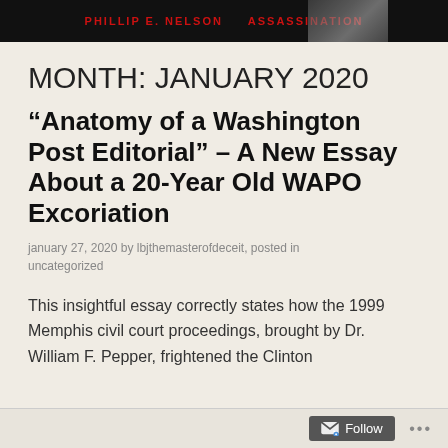PHILLIP E. NELSON  ASSASSINATION
MONTH: JANUARY 2020
“Anatomy of a Washington Post Editorial” – A New Essay About a 20-Year Old WAPO Excoriation
january 27, 2020 by lbjthemasterofdeceit, posted in uncategorized
This insightful essay correctly states how the 1999 Memphis civil court proceedings, brought by Dr. William F. Pepper, frightened the Clinton